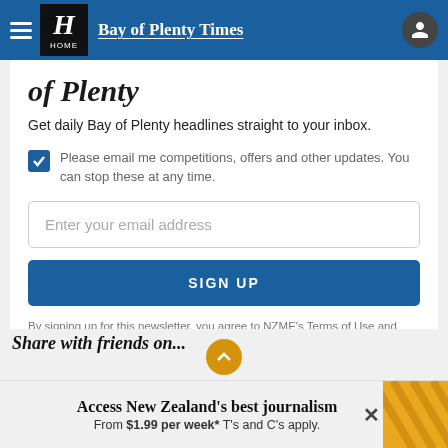Bay of Plenty Times
of Plenty
Get daily Bay of Plenty headlines straight to your inbox.
Please email me competitions, offers and other updates. You can stop these at any time.
Enter your email address
SIGN UP
By signing up for this newsletter, you agree to NZME's Terms of Use and Privacy Policy.
Access New Zealand's best journalism From $1.99 per week* T's and C's apply.